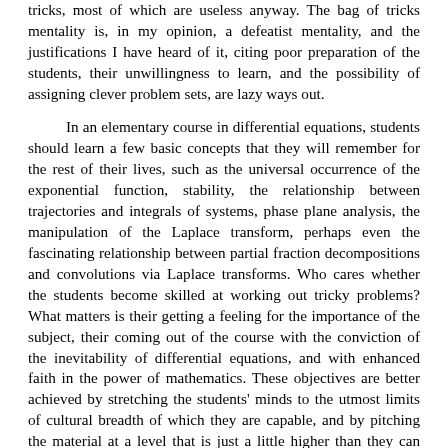tricks, most of which are useless anyway. The bag of tricks mentality is, in my opinion, a defeatist mentality, and the justifications I have heard of it, citing poor preparation of the students, their unwillingness to learn, and the possibility of assigning clever problem sets, are lazy ways out.
In an elementary course in differential equations, students should learn a few basic concepts that they will remember for the rest of their lives, such as the universal occurrence of the exponential function, stability, the relationship between trajectories and integrals of systems, phase plane analysis, the manipulation of the Laplace transform, perhaps even the fascinating relationship between partial fraction decompositions and convolutions via Laplace transforms. Who cares whether the students become skilled at working out tricky problems? What matters is their getting a feeling for the importance of the subject, their coming out of the course with the conviction of the inevitability of differential equations, and with enhanced faith in the power of mathematics. These objectives are better achieved by stretching the students' minds to the utmost limits of cultural breadth of which they are capable, and by pitching the material at a level that is just a little higher than they can reach.
We are kidding ourselves if we believe that the purpose of undergraduate teaching is the transmission of information. Information is an accidental feature of an elementary course in